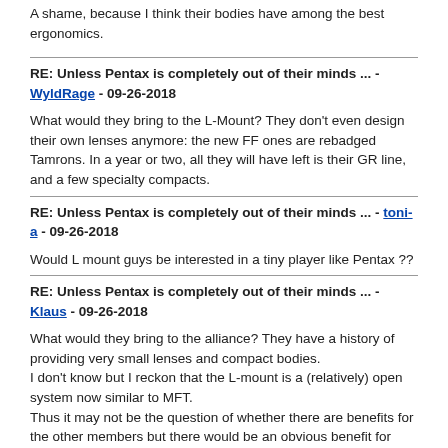A shame, because I think their bodies have among the best ergonomics.
RE: Unless Pentax is completely out of their minds ... - WyldRage - 09-26-2018
What would they bring to the L-Mount? They don't even design their own lenses anymore: the new FF ones are rebadged Tamrons. In a year or two, all they will have left is their GR line, and a few specialty compacts.
RE: Unless Pentax is completely out of their minds ... - toni-a - 09-26-2018
Would L mount guys be interested in a tiny player like Pentax ??
RE: Unless Pentax is completely out of their minds ... - Klaus - 09-26-2018
What would they bring to the alliance? They have a history of providing very small lenses and compact bodies.
I don't know but I reckon that the L-mount is a (relatively) open system now similar to MFT.
Thus it may not be the question of whether there are benefits for the other members but there would be an obvious benefit for Pentax.
RE: Unless Pentax is completely out of their minds ... - davidmanze - 09-26-2018